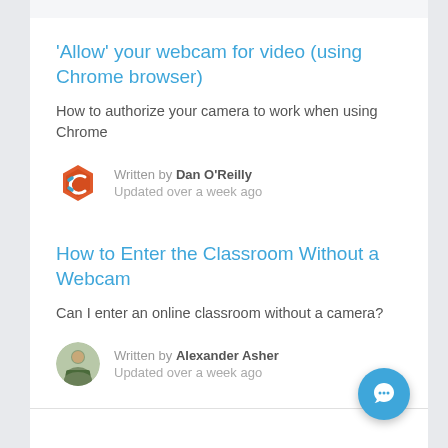'Allow' your webcam for video (using Chrome browser)
How to authorize your camera to work when using Chrome
Written by Dan O'Reilly
Updated over a week ago
How to Enter the Classroom Without a Webcam
Can I enter an online classroom without a camera?
Written by Alexander Asher
Updated over a week ago